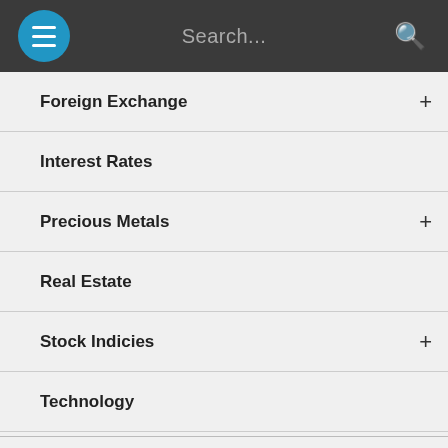Search...
Foreign Exchange
Interest Rates
Precious Metals
Real Estate
Stock Indicies
Technology
Plagues
Products and Services
Q&A
Real Estate
Uncategorized